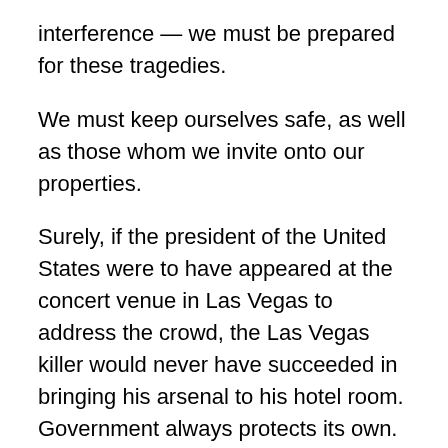interference — we must be prepared for these tragedies.
We must keep ourselves safe, as well as those whom we invite onto our properties.
Surely, if the president of the United States were to have appeared at the concert venue in Las Vegas to address the crowd, the Las Vegas killer would never have succeeded in bringing his arsenal to his hotel room. Government always protects its own. Shouldn't landowners who invite the public to their properties do the same?
Add to government's incompetence its useless intrusive omnipresence. In present-day America, the National Security Agency — the federal government's domestic spying agency — captures in real time the contents of